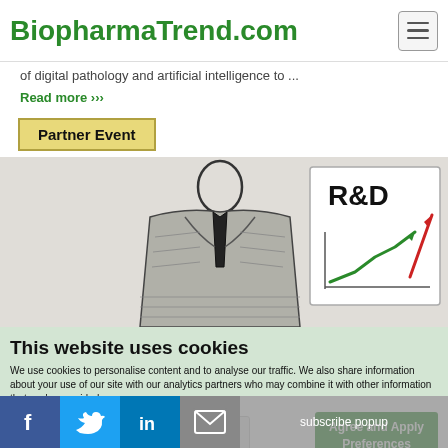BiopharmaTrend.com
of digital pathology and artificial intelligence to ...
Read more ›››
Partner Event
[Figure (illustration): Sketch illustration of a businessman in a suit and tie on the left, and an R&D chart with upward trending green and red arrows on the right]
This website uses cookies
We use cookies to personalise content and to analyse our traffic. We also share information about your use of our site with our analytics partners who may combine it with other information that you've provided
Necessary cookies
Agree and Apply Preferences